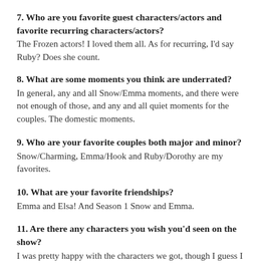7. Who are you favorite guest characters/actors and favorite recurring characters/actors?
The Frozen actors! I loved them all. As for recurring, I'd say Ruby? Does she count.
8. What are some moments you think are underrated?
In general, any and all Snow/Emma moments, and there were not enough of those, and any and all quiet moments for the couples. The domestic moments.
9. Who are your favorite couples both major and minor?
Snow/Charming, Emma/Hook and Ruby/Dorothy are my favorites.
10. What are your favorite friendships?
Emma and Elsa! And Season 1 Snow and Emma.
11. Are there any characters you wish you'd seen on the show?
I was pretty happy with the characters we got, though I guess I